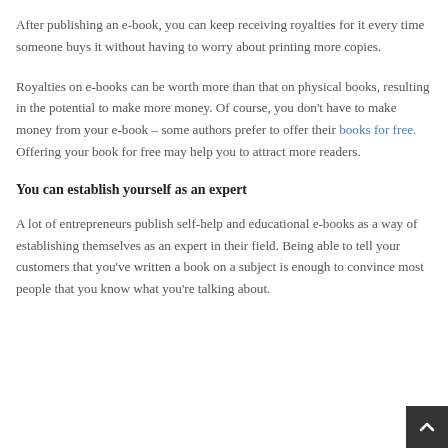After publishing an e-book, you can keep receiving royalties for it every time someone buys it without having to worry about printing more copies.
Royalties on e-books can be worth more than that on physical books, resulting in the potential to make more money. Of course, you don’t have to make money from your e-book – some authors prefer to offer their books for free. Offering your book for free may help you to attract more readers.
You can establish yourself as an expert
A lot of entrepreneurs publish self-help and educational e-books as a way of establishing themselves as an expert in their field. Being able to tell your customers that you’ve written a book on a subject is enough to convince most people that you know what you’re talking about.